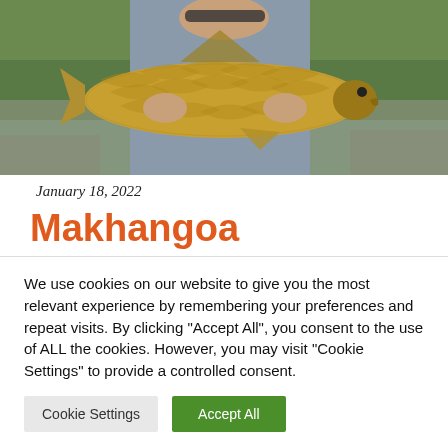[Figure (photo): Person holding a large yellowish-brown fish (barbel/carp-like) with both hands, with a rocky river and green vegetation in the background. The person is wearing a grey jacket and sunglasses.]
January 18, 2022
Makhangoa
We use cookies on our website to give you the most relevant experience by remembering your preferences and repeat visits. By clicking "Accept All", you consent to the use of ALL the cookies. However, you may visit "Cookie Settings" to provide a controlled consent.
Cookie Settings | Accept All